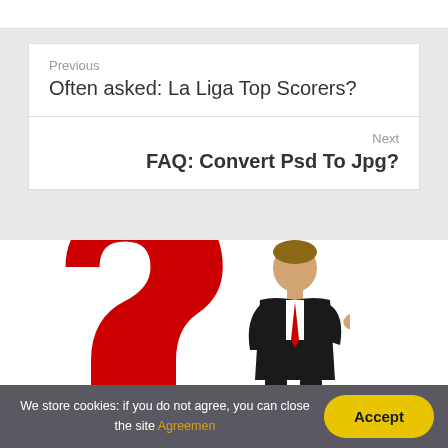Previous
Often asked: La Liga Top Scorers?
Next
FAQ: Convert Psd To Jpg?
[Figure (illustration): Large red question mark with a boy in a black suit standing in front of it, thinking pose with hand on chin]
We store cookies: if you do not agree, you can close the site Agreemen